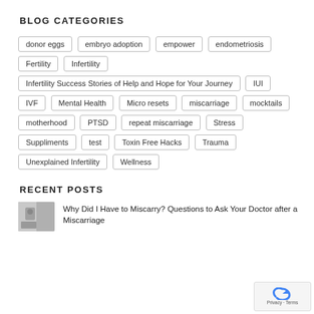BLOG CATEGORIES
donor eggs
embryo adoption
empower
endometriosis
Fertility
Infertility
Infertility Success Stories of Help and Hope for Your Journey
IUI
IVF
Mental Health
Micro resets
miscarriage
mocktails
motherhood
PTSD
repeat miscarriage
Stress
Suppliments
test
Toxin Free Hacks
Trauma
Unexplained Infertility
Wellness
RECENT POSTS
Why Did I Have to Miscarry? Questions to Ask Your Doctor after a Miscarriage